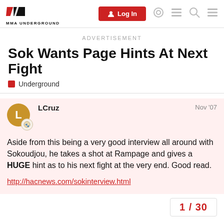MMA UNDERGROUND | Log In
ADVERTISEMENT
Sok Wants Page Hints At Next Fight
Underground
LCruz  Nov '07
Aside from this being a very good interview all around with Sokoudjou, he takes a shot at Rampage and gives a HUGE hint as to his next fight at the very end. Good read.
http://hacnews.com/sokinterview.html
1 / 30